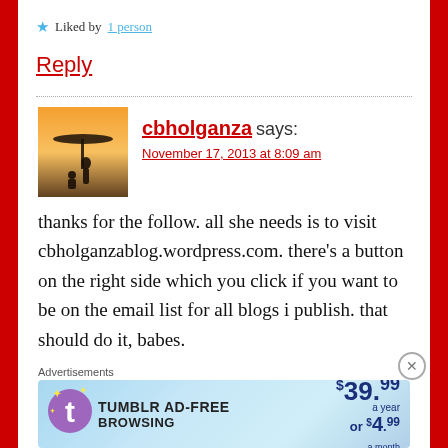★ Liked by 1 person
Reply
cbholganza says: November 17, 2013 at 8:09 am
thanks for the follow. all she needs is to visit cbholganzablog.wordpress.com. there's a button on the right side which you click if you want to be on the email list for all blogs i publish. that should do it, babes.
Advertisements
[Figure (other): Tumblr Ad-Free Browsing advertisement banner: $39.99 a year or $4.99 a month]